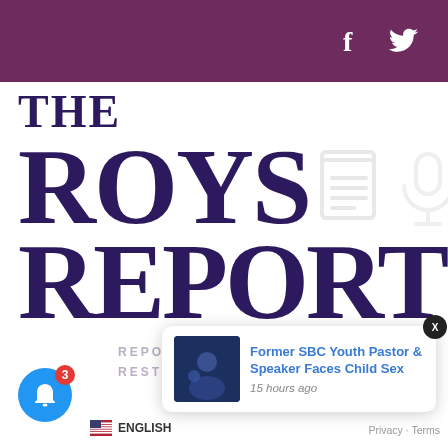THE ROYS REPORT — social media icons (Facebook, Twitter)
[Figure (logo): The Roys Report logo with large serif text 'THE', 'ROYS', 'REPORT' in dark purple, accompanied by a document icon and microphone icon in light gray]
REPORTING THE TRUTH. RESTORING THE CHURCH.
[Figure (screenshot): Notification popup showing 'Former SBC Youth Pastor & Speaker Faces Child Sex' posted 15 hours ago, with a dark thumbnail image]
ENGLISH
Privacy · Terms